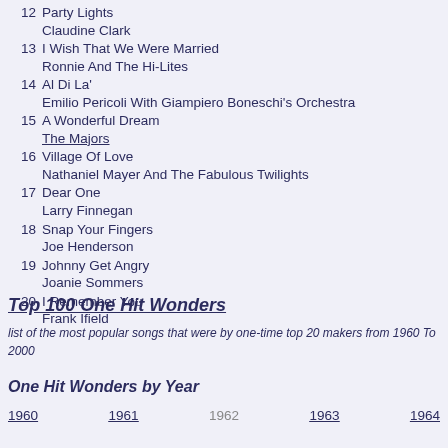12  Party Lights / Claudine Clark
13  I Wish That We Were Married / Ronnie And The Hi-Lites
14  Al Di La' / Emilio Pericoli With Giampiero Boneschi's Orchestra
15  A Wonderful Dream / The Majors
16  Village Of Love / Nathaniel Mayer And The Fabulous Twilights
17  Dear One / Larry Finnegan
18  Snap Your Fingers / Joe Henderson
19  Johnny Get Angry / Joanie Sommers
20  I Remember You / Frank Ifield
Top 100 One Hit Wonders
list of the most popular songs that were by one-time top 20 makers from 1960 To 2000
One Hit Wonders by Year
1960  1961  1962  1963  1964